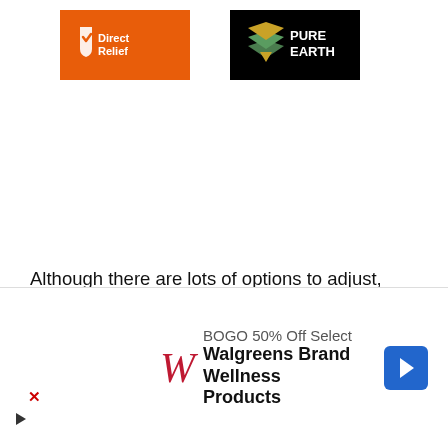[Figure (logo): Direct Relief logo — white icon and text on orange background]
[Figure (logo): Pure Earth logo — diamond icon with green/yellow layers and white text on black background]
Although there are lots of options to adjust, Windows provide you with a few options for customizing and adjusting the sensitivity of a pen outside its Surface app. Still, you can calibrate the settings from the Control Panel to rectify certain issues. Also, you can adjust some settings that will
[Figure (infographic): Walgreens advertisement banner: BOGO 50% Off Select Walgreens Brand Wellness Products, with Walgreens W logo and blue arrow button]